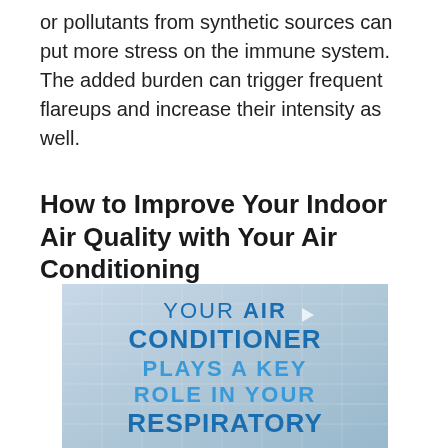or pollutants from synthetic sources can put more stress on the immune system. The added burden can trigger frequent flareups and increase their intensity as well.
How to Improve Your Indoor Air Quality with Your Air Conditioning
[Figure (photo): An image of an air conditioning unit with overlaid text reading: YOUR AIR CONDITIONER PLAYS A KEY ROLE IN YOUR RESPIRATORY (HEALTH implied at bottom). The text is in blue on a light blue-grey background with AC grille lines visible.]